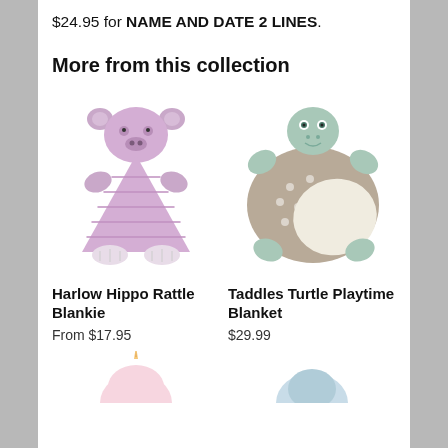$24.95 for NAME AND DATE 2 LINES.
More from this collection
[Figure (photo): Harlow Hippo Rattle Blankie — a plush lavender hippo-shaped security blanket with textured body and small cream feet]
Harlow Hippo Rattle Blankie
From $17.95
[Figure (photo): Taddles Turtle Playtime Blanket — a plush mint green turtle with spotted beige/cream oval blanket body and green limbs]
Taddles Turtle Playtime Blanket
$29.99
[Figure (photo): Partial view of additional product (unicorn) at bottom left — cropped]
[Figure (photo): Partial view of additional product at bottom right — cropped]